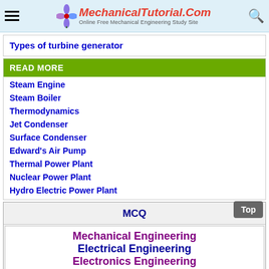MechanicalTutorial.Com — Online Free Mechanical Engineering Study Site
Types of turbine generator
READ MORE
Steam Engine
Steam Boiler
Thermodynamics
Jet Condenser
Surface Condenser
Edward's Air Pump
Thermal Power Plant
Nuclear Power Plant
Hydro Electric Power Plant
MCQ
Mechanical Engineering
Electrical Engineering
Electronics Engineering